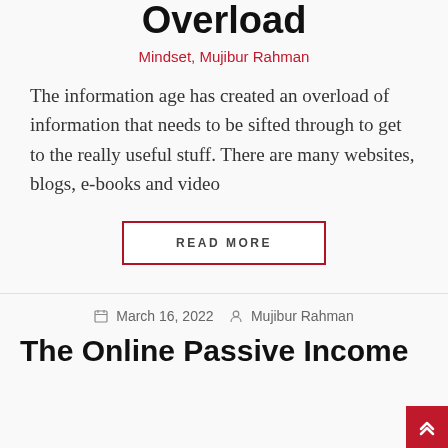Overload
Mindset, Mujibur Rahman
The information age has created an overload of information that needs to be sifted through to get to the really useful stuff. There are many websites, blogs, e-books and video
READ MORE
March 16, 2022   Mujibur Rahman
The Online Passive Income